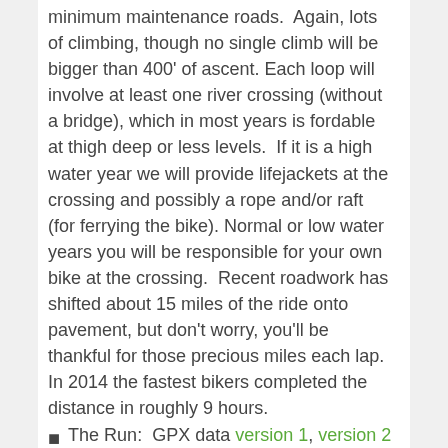minimum maintenance roads.  Again, lots of climbing, though no single climb will be bigger than 400' of ascent. Each loop will involve at least one river crossing (without a bridge), which in most years is fordable at thigh deep or less levels.  If it is a high water year we will provide lifejackets at the crossing and possibly a rope and/or raft (for ferrying the bike). Normal or low water years you will be responsible for your own bike at the crossing.  Recent roadwork has shifted about 15 miles of the ride onto pavement, but don't worry, you'll be thankful for those precious miles each lap.  In 2014 the fastest bikers completed the distance in roughly 9 hours.
The Run:  GPX data version 1, version 2 (right-click, save as).  Elevation Profile. The run is going to be a doozy. It will be extremely grueling.  Starting at the remote location, the run is  a continuous one way trip